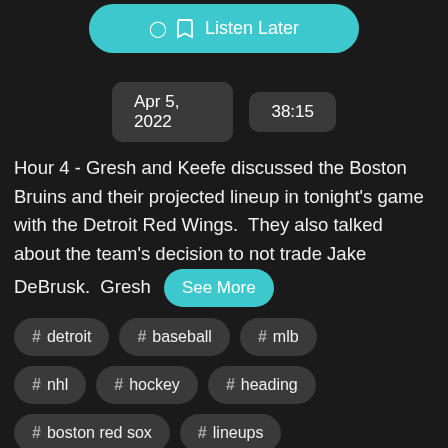Listen Later
Apr 5, 2022   38:15
Hour 4 - Gresh and Keefe discussed the Boston Bruins and their projected lineup in tonight's game with the Detroit Red Wings.  They also talked about the team's decision to not trade Jake DeBrusk.  Gresh  See More
# detroit
# baseball
# mlb
# nhl
# hockey
# heading
# boston red sox
# lineups
# bruins
# detroit red wings